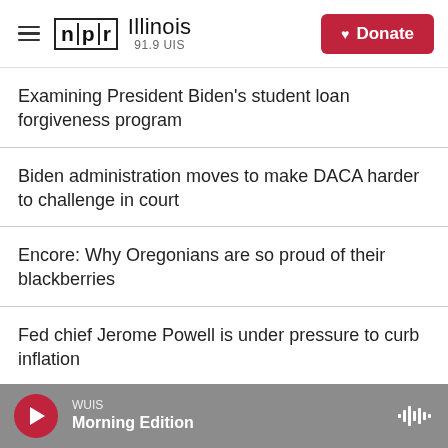NPR Illinois 91.9 UIS — Donate
Examining President Biden's student loan forgiveness program
Biden administration moves to make DACA harder to challenge in court
Encore: Why Oregonians are so proud of their blackberries
Fed chief Jerome Powell is under pressure to curb inflation
WUIS Morning Edition